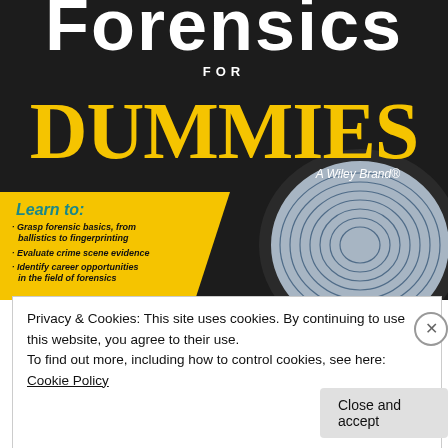[Figure (illustration): Book cover of 'Forensics For Dummies' (A Wiley Brand) showing the title in white and yellow on a dark background, with a yellow section listing key learning points and a fingerprint magnifying glass image on the right]
· Grasp forensic basics, from ballistics to fingerprinting
· Evaluate crime scene evidence
· Identify career opportunities in the field of forensics
Privacy & Cookies: This site uses cookies. By continuing to use this website, you agree to their use.
To find out more, including how to control cookies, see here: Cookie Policy